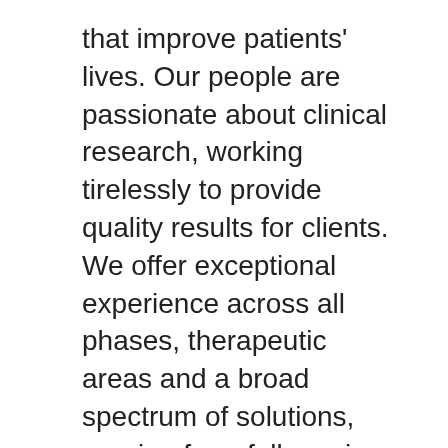that improve patients' lives. Our people are passionate about clinical research, working tirelessly to provide quality results for clients. We offer exceptional experience across all phases, therapeutic areas and a broad spectrum of solutions, ranging from full-service clinical development to our pioneering embedded model.
With over 10,000 employees covering more than 80 countries, we bolster an impressive